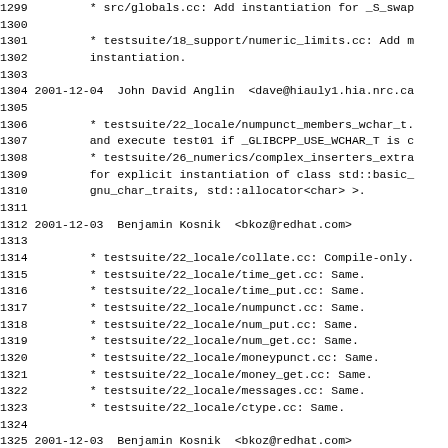1299         * src/globals.cc: Add instantiation for _S_swap
1300
1301         * testsuite/18_support/numeric_limits.cc: Add r
1302         instantiation.
1303
1304 2001-12-04  John David Anglin  <dave@hiauly1.hia.nrc.ca
1305
1306         * testsuite/22_locale/numpunct_members_wchar_t.
1307         and execute test01 if _GLIBCPP_USE_WCHAR_T is c
1308         * testsuite/26_numerics/complex_inserters_extra
1309         for explicit instantiation of class std::basic_
1310         gnu_char_traits, std::allocator<char> >.
1311
1312 2001-12-03  Benjamin Kosnik  <bkoz@redhat.com>
1313
1314         * testsuite/22_locale/collate.cc: Compile-only.
1315         * testsuite/22_locale/time_get.cc: Same.
1316         * testsuite/22_locale/time_put.cc: Same.
1317         * testsuite/22_locale/numpunct.cc: Same.
1318         * testsuite/22_locale/num_put.cc: Same.
1319         * testsuite/22_locale/num_get.cc: Same.
1320         * testsuite/22_locale/moneypunct.cc: Same.
1321         * testsuite/22_locale/money_get.cc: Same.
1322         * testsuite/22_locale/messages.cc: Same.
1323         * testsuite/22_locale/ctype.cc: Same.
1324
1325 2001-12-03  Benjamin Kosnik  <bkoz@redhat.com>
1326
1327         * src/string-inst.cc (string::_Rep::_S_terminal
1328         member instantiations.
1329
1330 2001-12-03  Steve Ellcey  <sje@cup.hp.com>